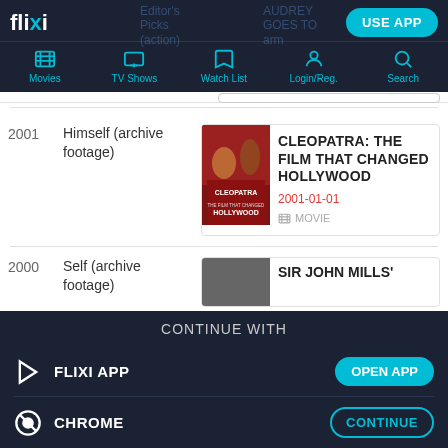flixi — Movies | TV Shows | Watch List | Login/Reg. | Search | USE APP
2001 — Himself (archive footage) — CLEOPATRA: THE FILM THAT CHANGED HOLLYWOOD — 2001-01-01 — MOVIE
2000 — Self (archive footage) — SIR JOHN MILLS'
CONTINUE WITH
FLIXI APP — OPEN APP
CHROME — CONTINUE